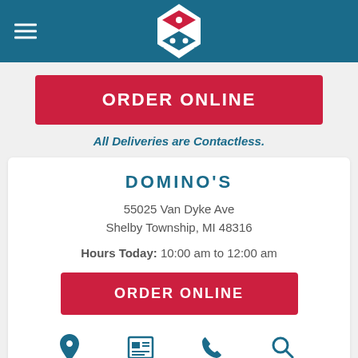[Figure (logo): Domino's Pizza logo - red diamond with white dots on teal/blue header background]
ORDER ONLINE
All Deliveries are Contactless.
DOMINO'S
55025 Van Dyke Ave
Shelby Township, MI 48316
Hours Today: 10:00 am to 12:00 am
ORDER ONLINE
Map
Details
Call
Search